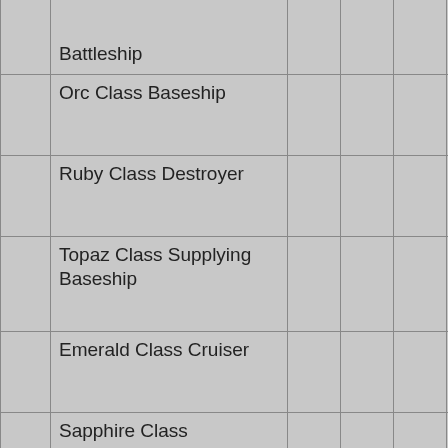| Ship Class |  |  |  |  |
| --- | --- | --- | --- | --- |
| [Class] Battleship |  |  |  | 2 |
| Orc Class Baseship |  |  |  | 2 |
| Ruby Class Destroyer |  |  |  |  |
| Topaz Class Supplying Baseship |  |  |  |  |
| Emerald Class Cruiser |  |  |  |  |
| Sapphire Class Battlecruiser |  |  |  |  |
| Silicon Avatar Class Carrier |  |  |  |  |
| Diamond Flame Class Battleship |  |  |  |  |
| Victory Class Star |  |  |  |  |